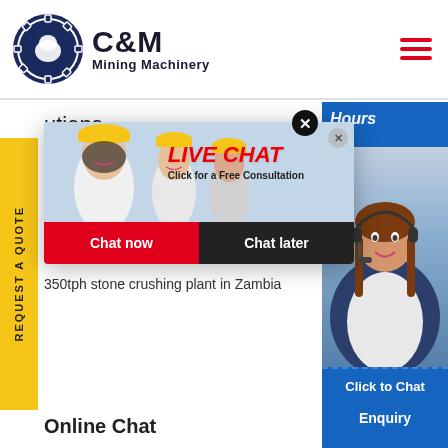[Figure (logo): C&M Mining Machinery logo with eagle in gear circle, navy blue]
[Figure (infographic): Live Chat popup overlay with workers in hard hats, LIVE CHAT text in red, Chat now and Chat later buttons]
[Figure (infographic): Right side panel with Hours/Online text and female agent with headset, Click to Chat button]
utions
tph grani
tph limes
tph granite crushing line in South Af
tph crushing plant in Guinea
350tph stone crushing plant in Zambia
Online Chat
REQUEST A QUOTE
Enquiry